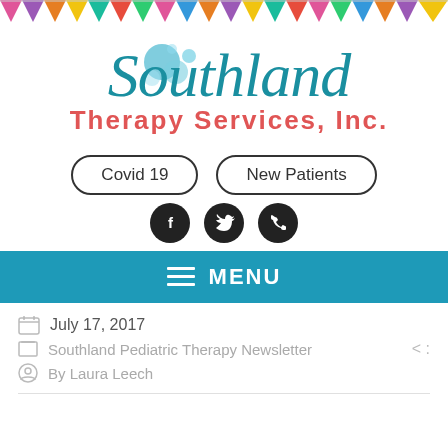[Figure (illustration): Colorful triangle bunting banner across the top of the page in multiple colors: pink, purple, orange, yellow, teal, red, green]
[Figure (logo): Southland Therapy Services, Inc. logo with teal cursive Southland text with blue bubble decorations and red bold Therapy Services, Inc. text below]
[Figure (infographic): Two pill-shaped buttons labeled Covid 19 and New Patients with black outlines]
[Figure (infographic): Three dark circular social media icons: Facebook (f), Twitter (bird), and phone]
[Figure (infographic): Teal menu bar with hamburger icon and MENU label in white bold text]
July 17, 2017
Southland Pediatric Therapy Newsletter
By Laura Leech